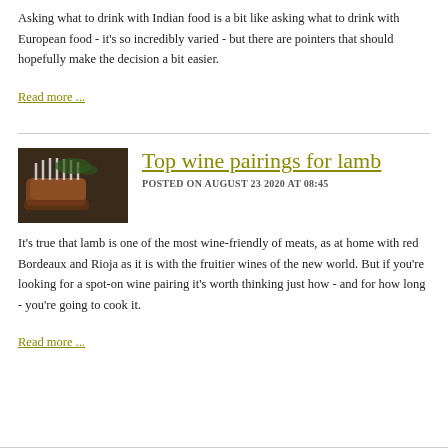Asking what to drink with Indian food is a bit like asking what to drink with European food - it's so incredibly varied - but there are pointers that should hopefully make the decision a bit easier.
Read more ...
Top wine pairings for lamb
POSTED ON AUGUST 23 2020 AT 08:45
It's true that lamb is one of the most wine-friendly of meats, as at home with red Bordeaux and Rioja as it is with the fruitier wines of the new world. But if you're looking for a spot-on wine pairing it's worth thinking just how - and for how long - you're going to cook it.
Read more ...